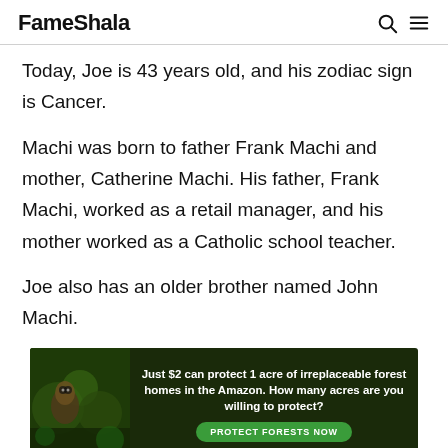FameShala
Today, Joe is 43 years old, and his zodiac sign is Cancer.
Machi was born to father Frank Machi and mother, Catherine Machi. His father, Frank Machi, worked as a retail manager, and his mother worked as a Catholic school teacher.
Joe also has an older brother named John Machi.
[Figure (infographic): Advertisement banner: 'Just $2 can protect 1 acre of irreplaceable forest homes in the Amazon. How many acres are you willing to protect?' with a green PROTECT FORESTS NOW button and an image of a rainforest animal.]